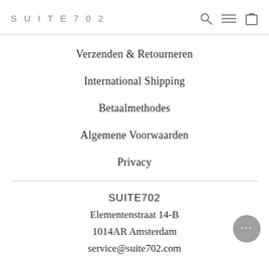SUITE702
Verzenden & Retourneren
International Shipping
Betaalmethodes
Algemene Voorwaarden
Privacy
SUITE702
Elementenstraat 14-B
1014AR Amsterdam
service@suite702.com

+31 (0)20-7370652

Contact formulier